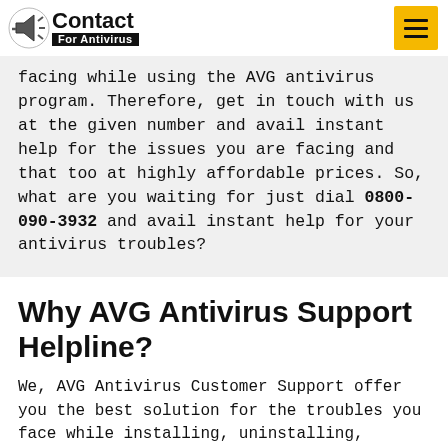Contact For Antivirus [logo with hamburger menu]
facing while using the AVG antivirus program. Therefore, get in touch with us at the given number and avail instant help for the issues you are facing and that too at highly affordable prices. So, what are you waiting for just dial 0800-090-3932 and avail instant help for your antivirus troubles?
Why AVG Antivirus Support Helpline?
We, AVG Antivirus Customer Support offer you the best solution for the troubles you face while installing, uninstalling, using, configuring your AVG antivirus. We are available 24*7*365 to help